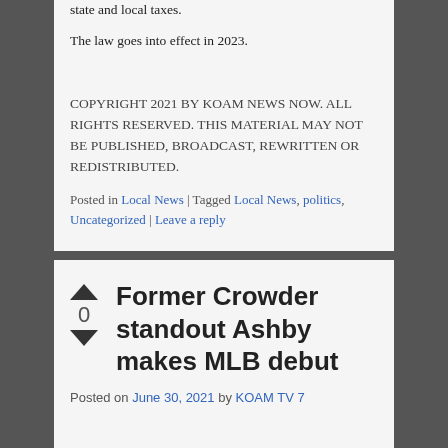state and local taxes.
The law goes into effect in 2023.
COPYRIGHT 2021 BY KOAM NEWS NOW. ALL RIGHTS RESERVED. THIS MATERIAL MAY NOT BE PUBLISHED, BROADCAST, REWRITTEN OR REDISTRIBUTED.
Posted in Local News | Tagged Local News, politics, Uncategorized | Leave a reply
Former Crowder standout Ashby makes MLB debut
Posted on June 30, 2021 by KOAM TV 7